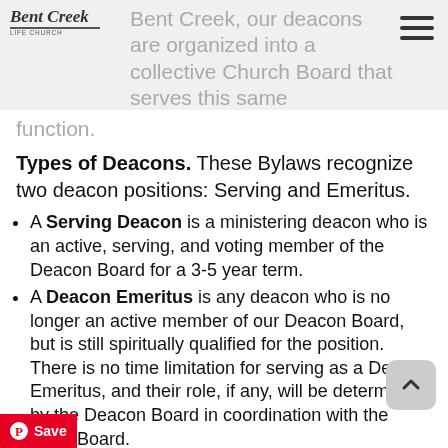Bent Creek church logo and navigation header
Bent Creek, our deacons are organized into a collective Church Board that serves this same function.
Types of Deacons. These Bylaws recognize two deacon positions: Serving and Emeritus.
A Serving Deacon is a ministering deacon who is an active, serving, and voting member of the Deacon Board for a 3-5 year term.
A Deacon Emeritus is any deacon who is no longer an active member of our Deacon Board, but is still spiritually qualified for the position. There is no time limitation for serving as a Deacon Emeritus, and their role, if any, will be determined by the Deacon Board in coordination with the Elder Board.
Deacon Qualifications. Any prospective Deacon must the spiritual qualifications listed in 1 Timothy 3:8-